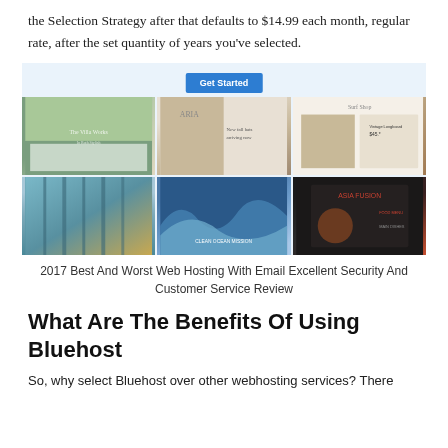the Selection Strategy after that defaults to $14.99 each month, regular rate, after the set quantity of years you've selected.
[Figure (screenshot): A collage of six website template thumbnails displayed in a 3x2 grid on a light blue background, with a blue 'Get Started' button at the top center. The templates include a house/real estate site, a fashion/clothing site, a surf shop, a painted forest art site, an ocean/surfing site, and a food/restaurant site.]
2017 Best And Worst Web Hosting With Email Excellent Security And Customer Service Review
What Are The Benefits Of Using Bluehost
So, why select Bluehost over other webhosting services? There